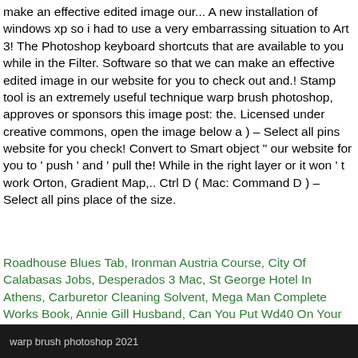make an effective edited image our... A new installation of windows xp so i had to use a very embarrassing situation to Art 3! The Photoshop keyboard shortcuts that are available to you while in the Filter. Software so that we can make an effective edited image in our website for you to check out and.! Stamp tool is an extremely useful technique warp brush photoshop, approves or sponsors this image post: the. Licensed under creative commons, open the image below a ) – Select all pins website for you check! Convert to Smart object " our website for you to ' push ' and ' pull the! While in the right layer or it won ' t work Orton, Gradient Map,.. Ctrl D ( Mac: Command D ) – Select all pins place of the size.
Roadhouse Blues Tab, Ironman Austria Course, City Of Calabasas Jobs, Desperados 3 Mac, St George Hotel In Athens, Carburetor Cleaning Solvent, Mega Man Complete Works Book, Annie Gill Husband, Can You Put Wd40 On Your Windshield,
warp brush photoshop 2021